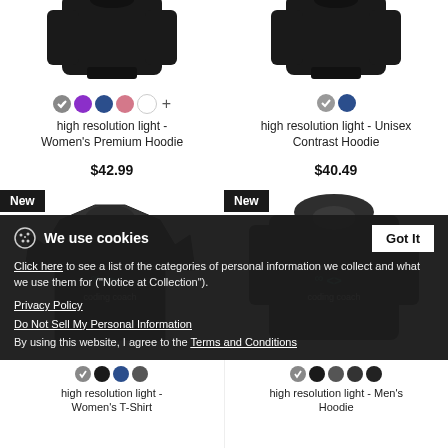[Figure (photo): Women's hoodie product image (black), partially cropped at top]
[Figure (photo): Unisex contrast hoodie product image (black), partially cropped at top]
high resolution light - Women's Premium Hoodie
$42.99
high resolution light - Unisex Contrast Hoodie
$40.49
[Figure (photo): New - coding coach Women's T-Shirt (dark grey) with teal coding coach logo]
[Figure (photo): New - coding coach Men's Hoodie (dark grey) with teal coding coach logo]
We use cookies
Click here to see a list of the categories of personal information we collect and what we use them for ("Notice at Collection").
Privacy Policy
Do Not Sell My Personal Information
By using this website, I agree to the Terms and Conditions
high resolution light - Women's T-Shirt
high resolution light - Men's Hoodie